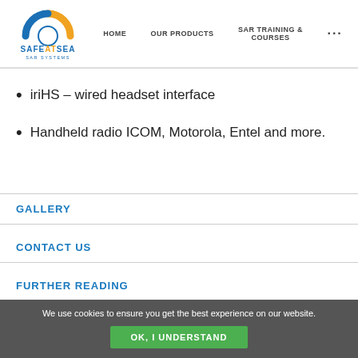Safe At Sea — SAR Systems | HOME | OUR PRODUCTS | SAR TRAINING & COURSES | ...
iriHS – wired headset interface
Handheld radio ICOM, Motorola, Entel and more.
GALLERY
CONTACT US
FURTHER READING
GALLERY
We use cookies to ensure you get the best experience on our website. OK, I UNDERSTAND